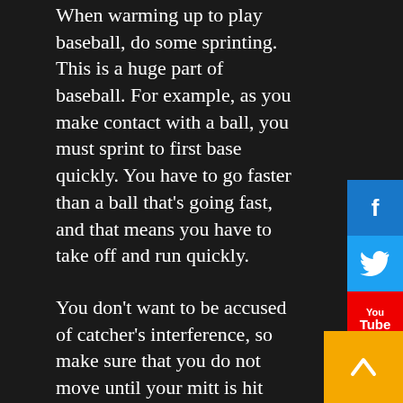When warming up to play baseball, do some sprinting. This is a huge part of baseball. For example, as you make contact with a ball, you must sprint to first base quickly. You have to go faster than a ball that's going fast, and that means you have to take off and run quickly.
You don't want to be accused of catcher's interference, so make sure that you do not move until your mitt is hit with the pitch. If the runner starts to move, you can begin to get up a bit. Still, you don't want to move too much because if the ball makes contact with your glove, the batter is allowed to head to first base.
Look at a right-handed pitcher's left foot to prevent him from being able to pick you off. When his left foot leaves the ground, his pitch can't be stopped or